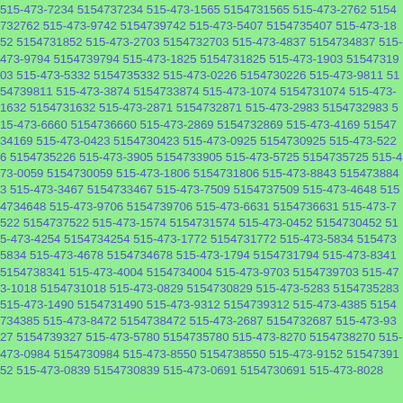515-473-7234 5154737234 515-473-1565 5154731565 515-473-2762 5154732762 515-473-9742 5154739742 515-473-5407 5154735407 515-473-1852 5154731852 515-473-2703 5154732703 515-473-4837 5154734837 515-473-9794 5154739794 515-473-1825 5154731825 515-473-1903 5154731903 515-473-5332 5154735332 515-473-0226 5154730226 515-473-9811 5154739811 515-473-3874 5154733874 515-473-1074 5154731074 515-473-1632 5154731632 515-473-2871 5154732871 515-473-2983 5154732983 515-473-6660 5154736660 515-473-2869 5154732869 515-473-4169 5154734169 515-473-0423 5154730423 515-473-0925 5154730925 515-473-5226 5154735226 515-473-3905 5154733905 515-473-5725 5154735725 515-473-0059 5154730059 515-473-1806 5154731806 515-473-8843 5154738843 515-473-3467 5154733467 515-473-7509 5154737509 515-473-4648 5154734648 515-473-9706 5154739706 515-473-6631 5154736631 515-473-7522 5154737522 515-473-1574 5154731574 515-473-0452 5154730452 515-473-4254 5154734254 515-473-1772 5154731772 515-473-5834 5154735834 515-473-4678 5154734678 515-473-1794 5154731794 515-473-8341 5154738341 515-473-4004 5154734004 515-473-9703 5154739703 515-473-1018 5154731018 515-473-0829 5154730829 515-473-5283 5154735283 515-473-1490 5154731490 515-473-9312 5154739312 515-473-4385 5154734385 515-473-8472 5154738472 515-473-2687 5154732687 515-473-9327 5154739327 515-473-5780 5154735780 515-473-8270 5154738270 515-473-0984 5154730984 515-473-8550 5154738550 515-473-9152 5154739152 515-473-0839 5154730839 515-473-0691 5154730691 515-473-8028